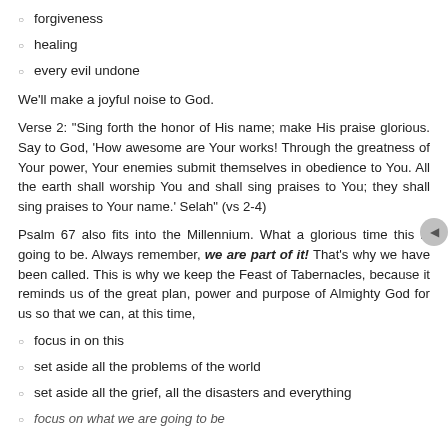forgiveness
healing
every evil undone
We'll make a joyful noise to God.
Verse 2: "Sing forth the honor of His name; make His praise glorious. Say to God, 'How awesome are Your works! Through the greatness of Your power, Your enemies submit themselves in obedience to You. All the earth shall worship You and shall sing praises to You; they shall sing praises to Your name.' Selah" (vs 2-4)
Psalm 67 also fits into the Millennium. What a glorious time this is going to be. Always remember, we are part of it! That's why we have been called. This is why we keep the Feast of Tabernacles, because it reminds us of the great plan, power and purpose of Almighty God for us so that we can, at this time,
focus in on this
set aside all the problems of the world
set aside all the grief, all the disasters and everything
focus on what we are going to be